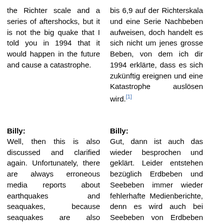the Richter scale and a series of aftershocks, but it is not the big quake that I told you in 1994 that it would happen in the future and cause a catastrophe.
bis 6,9 auf der Richterskala und eine Serie Nachbeben aufweisen, doch handelt es sich nicht um jenes grosse Beben, von dem ich dir 1994 erklärte, dass es sich zukünftig ereignen und eine Katastrophe auslösen wird.[1]
Billy:
Billy:
Well, then this is also discussed and clarified again. Unfortunately, there are always erroneous media reports about earthquakes and seaquakes, because seaquakes are also referred to as earthquakes, which is wrong, as you have said on
Gut, dann ist auch das wieder besprochen und geklärt. Leider entstehen bezüglich Erdbeben und Seebeben immer wieder fehlerhafte Medienberichte, denn es wird auch bei Seebeben von Erdbeben gesprochen, was aber